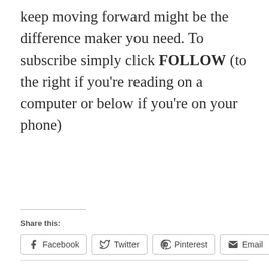keep moving forward might be the difference maker you need. To subscribe simply click FOLLOW (to the right if you're reading on a computer or below if you're on your phone)
Share this:
Facebook  Twitter  Pinterest  Email  Print
FITNESS MOTIVATION  FITNESS TRANSFORMATION